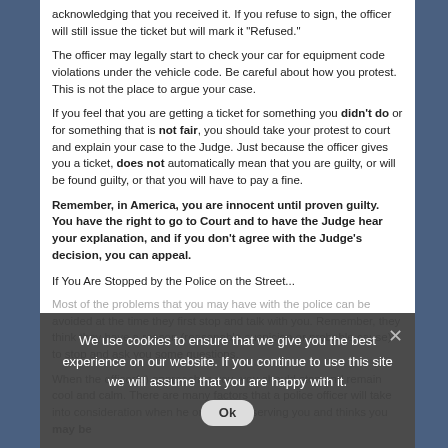acknowledging that you received it. If you refuse to sign, the officer will still issue the ticket but will mark it "Refused."
The officer may legally start to check your car for equipment code violations under the vehicle code. Be careful about how you protest. This is not the place to argue your case.
If you feel that you are getting a ticket for something you didn't do or for something that is not fair, you should take your protest to court and explain your case to the Judge. Just because the officer gives you a ticket, does not automatically mean that you are guilty, or will be found guilty, or that you will have to pay a fine.
Remember, in America, you are innocent until proven guilty. You have the right to go to Court and to have the Judge hear your explanation, and if you don't agree with the Judge's decision, you can appeal.
If You Are Stopped by the Police on the Street...
Most of the problems that you may have with the police can be avoided at the time they first stop and talk with you. Remember, they think they have a reason (reasonable suspicion or probable cause) to stop and ask you some questions.
When the officer(s) approaches you, you should stop and remain cool and calm. There are many factors that a police officer will take into consideration when he or she is observing you and thinks you may be
We use cookies to ensure that we give you the best experience on our website. If you continue to use this site we will assume that you are happy with it.